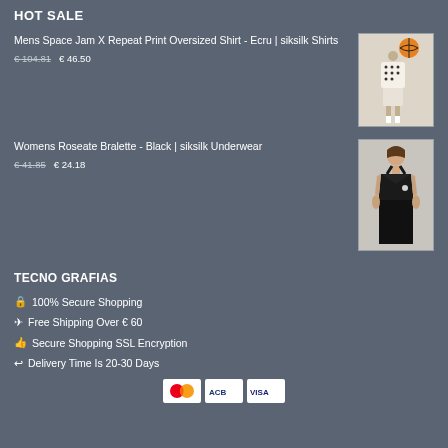HOT SALE
Mens Space Jam X Repeat Print Oversized Shirt - Ecru | siksilk Shirts
€ 104.81 → € 46.50
[Figure (photo): Product photo of a man wearing a white oversized shirt with repeat print pattern, holding a basketball]
Womens Roseate Bralette - Black | siksilk Underwear
€ 41.85 → € 24.18
[Figure (photo): Product photo of a woman wearing a black bralette/sports bra with matching bottoms]
TECNO GRAFIAS
🔒 100% Secure Shopping
✈ Free Shipping Over € 60
👍 Secure Shopping SSL Encryption
↩ Delivery Time Is 20-30 Days
[Figure (logo): Payment method logos: Mastercard, ACB, Visa]